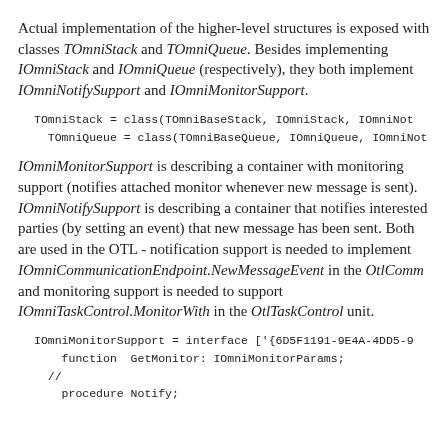Actual implementation of the higher-level structures is exposed with classes TOmniStack and TOmniQueue. Besides implementing IOmniStack and IOmniQueue (respectively), they both implement IOmniNotifySupport and IOmniMonitorSupport.
TOmniStack = class(TOmniBaseStack, IOmniStack, IOmniNot
  TOmniQueue = class(TOmniBaseQueue, IOmniQueue, IOmniNot
IOmniMonitorSupport is describing a container with monitoring support (notifies attached monitor whenever new message is sent). IOmniNotifySupport is describing a container that notifies interested parties (by setting an event) that new message has been sent. Both are used in the OTL - notification support is needed to implement IOmniCommunicationEndpoint.NewMessageEvent in the OtlComm and monitoring support is needed to support IOmniTaskControl.MonitorWith in the OtlTaskControl unit.
IOmniMonitorSupport = interface ['{6D5F1191-9E4A-4DD5-9
    function  GetMonitor: IOmniMonitorParams;
  //
    procedure Notify;